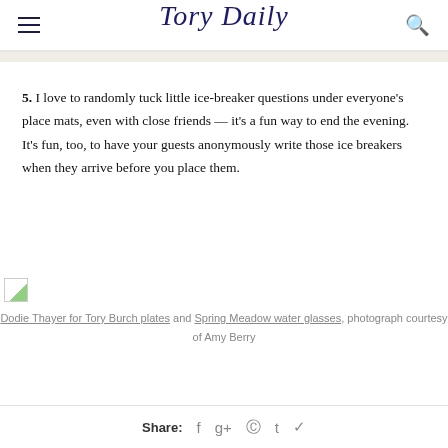Tory Daily
5. I love to randomly tuck little ice-breaker questions under everyone's place mats, even with close friends — it's a fun way to end the evening. It's fun, too, to have your guests anonymously write those ice breakers when they arrive before you place them.
[Figure (photo): Broken image placeholder for a photo of Dodie Thayer for Tory Burch plates and Spring Meadow water glasses]
Dodie Thayer for Tory Burch plates and Spring Meadow water glasses, photograph courtesy of Amy Berry
Share: f g+ p t bird-icon